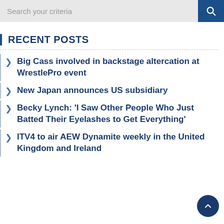Search your criteria
RECENT POSTS
Big Cass involved in backstage altercation at WrestlePro event
New Japan announces US subsidiary
Becky Lynch: 'I Saw Other People Who Just Batted Their Eyelashes to Get Everything'
ITV4 to air AEW Dynamite weekly in the United Kingdom and Ireland